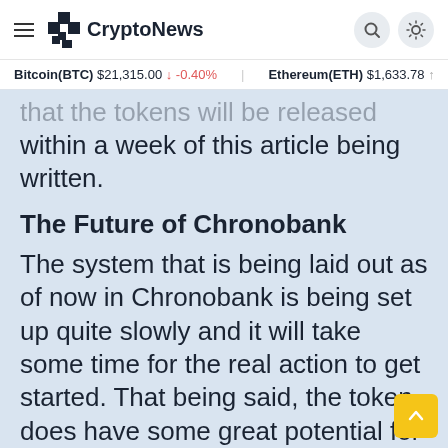CryptoNews
Bitcoin(BTC) $21,315.00 ↓ -0.40%   Ethereum(ETH) $1,633.78
that the tokens will be released within a week of this article being written.
The Future of Chronobank
The system that is being laid out as of now in Chronobank is being set up quite slowly and it will take some time for the real action to get started. That being said, the token does have some great potential for the future.
Interestingly, it has just been